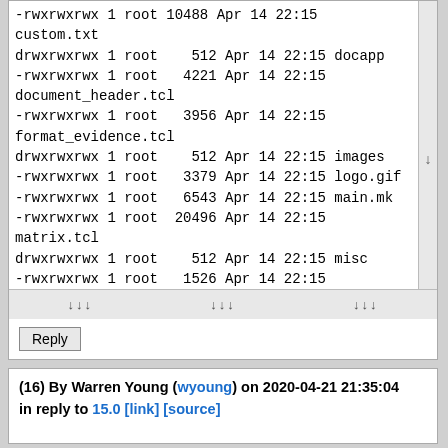-rwxrwxrwx 1 root 10488 Apr 14 22:15 custom.txt
drwxrwxrwx 1 root    512 Apr 14 22:15 docapp
-rwxrwxrwx 1 root   4221 Apr 14 22:15
document_header.tcl
-rwxrwxrwx 1 root   3956 Apr 14 22:15
format_evidence.tcl
drwxrwxrwx 1 root    512 Apr 14 22:15 images
-rwxrwxrwx 1 root   3379 Apr 14 22:15 logo.gif
-rwxrwxrwx 1 root   6543 Apr 14 22:15 main.mk
-rwxrwxrwx 1 root  20496 Apr 14 22:15
matrix.tcl
drwxrwxrwx 1 root    512 Apr 14 22:15 misc
-rwxrwxrwx 1 root   1526 Apr 14 22:15
numbering.txt
drwxrwxrwx 1 root    512 Apr 14 22:15 pages
-rwxrwxrwx 1 root    533 Apr 14 22:15 push.sh
drwxrwxrwx 1 root    512 Apr 14 22:15 rawpages
-rwxrwxrwx 1 root    424 Apr 14 22:15
(16) By Warren Young (wyoung) on 2020-04-21 21:35:04 in reply to 15.0 [link] [source]